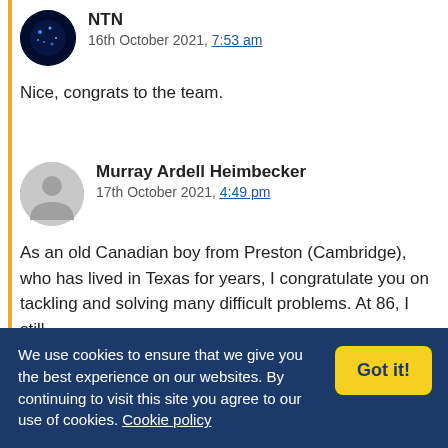NTN
16th October 2021, 7:53 am

Nice, congrats to the team.
Murray Ardell Heimbecker
17th October 2021, 4:49 pm

As an old Canadian boy from Preston (Cambridge), who has lived in Texas for years, I congratulate you on tackling and solving many difficult problems. At 86, I still
We use cookies to ensure that we give you the best experience on our websites. By continuing to visit this site you agree to our use of cookies. Cookie policy